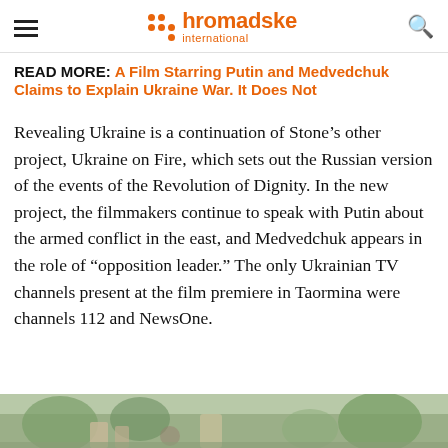hromadske international
READ MORE: A Film Starring Putin and Medvedchuk Claims to Explain Ukraine War. It Does Not
Revealing Ukraine is a continuation of Stone’s other project, Ukraine on Fire, which sets out the Russian version of the events of the Revolution of Dignity. In the new project, the filmmakers continue to speak with Putin about the armed conflict in the east, and Medvedchuk appears in the role of "opposition leader." The only Ukrainian TV channels present at the film premiere in Taormina were channels 112 and NewsOne.
[Figure (photo): Bottom strip of a photograph showing an outdoor scene with greenery and blurred figures]